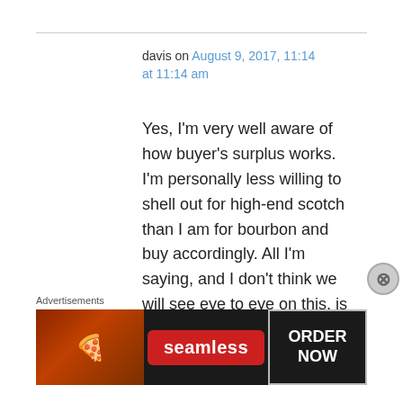davis on August 9, 2017, 11:14 at 11:14 am
Yes, I'm very well aware of how buyer's surplus works. I'm personally less willing to shell out for high-end scotch than I am for bourbon and buy accordingly. All I'm saying, and I don't think we will see eye to eye on this, is that even if I think $150 for
Advertisements
[Figure (other): Seamless food delivery advertisement banner with pizza image on left, red Seamless logo pill in center, and 'ORDER NOW' button on right, all on dark background]